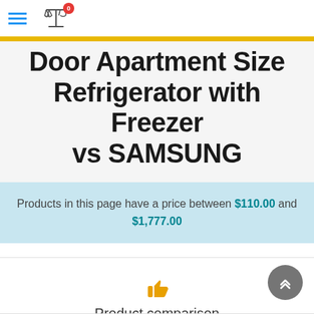Menu and compare icon with badge 0
Door Apartment Size Refrigerator with Freezer vs SAMSUNG
Products in this page have a price between $110.00 and $1,777.00
Product comparison
4 products added